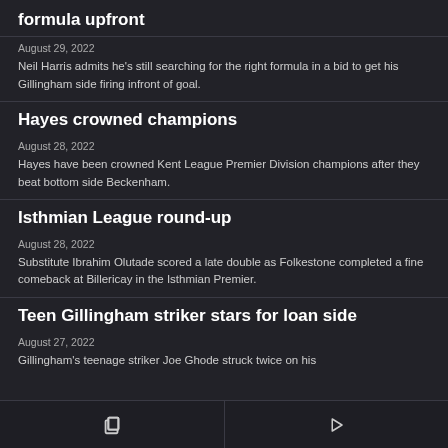formula upfront
August 29, 2022
Neil Harris admits he's still searching for the right formula in a bid to get his Gillingham side firing infront of goal.
Hayes crowned champions
August 28, 2022
Hayes have been crowned Kent League Premier Division champions after they beat bottom side Beckenham.
Isthmian League round-up
August 28, 2022
Substitute Ibrahim Olutade scored a late double as Folkestone completed a fine comeback at Billericay in the Isthmian Premier.
Teen Gillingham striker stars for loan side
August 27, 2022
Gillingham's teenage striker Joe Ghode struck twice on his
copy | play